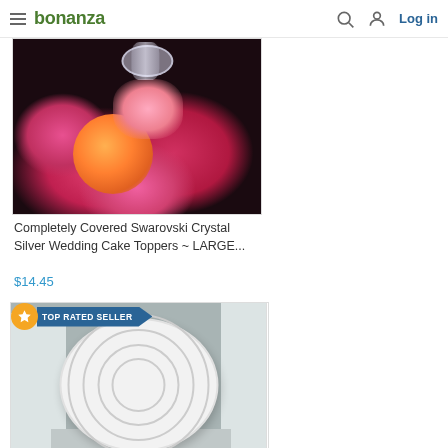bonanza — Log in
[Figure (photo): Product photo of Completely Covered Swarovski Crystal Silver Wedding Cake Toppers with roses and crystal decoration]
Completely Covered Swarovski Crystal Silver Wedding Cake Toppers ~ LARGE...
$14.45
[Figure (photo): Product photo of white round cake board/drum displayed against white boxes. Has TOP RATED SELLER badge overlay.]
TOP RATED SELLER